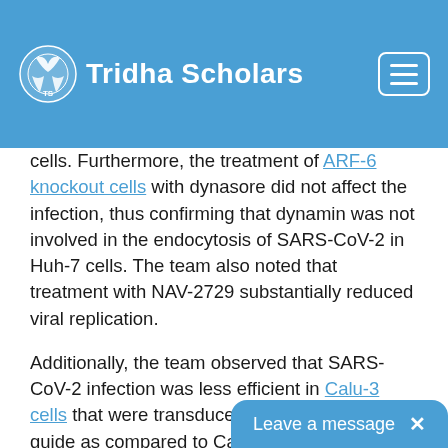Tridha Scholars
cells. Furthermore, the treatment of ARF-6 knockout cells with dynasore did not affect the infection, thus confirming that dynamin was not involved in the endocytosis of SARS-CoV-2 in Huh-7 cells. The team also noted that treatment with NAV-2729 substantially reduced viral replication.
Additionally, the team observed that SARS-CoV-2 infection was less efficient in Calu-3 cells that were transduced with ARF6-targeting guide as compared to Calu-3 cells that were transduced with NTg. Also, the reduction in SARS-CoV-2 infection in the Calu-3 ARF6 knockout cells was higher than in the Huh-7 ARF6 knockout cells, which suggested that ARF6 played more roles in Calu-3 cells than in Huh-7 cells.
Infection of ARF6 knockout cells